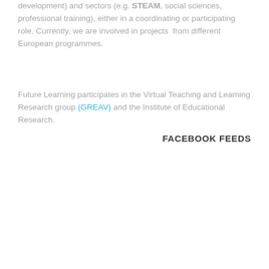development) and sectors (e.g. STEAM, social sciences, professional training), either in a coordinating or participating role. Currently, we are involved in projects  from different European programmes.
Future Learning participates in the Virtual Teaching and Learning Research group (GREAV) and the Institute of Educational Research.
FACEBOOK FEEDS